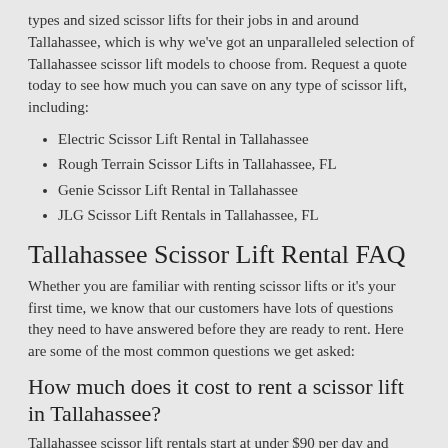types and sized scissor lifts for their jobs in and around Tallahassee, which is why we've got an unparalleled selection of Tallahassee scissor lift models to choose from. Request a quote today to see how much you can save on any type of scissor lift, including:
Electric Scissor Lift Rental in Tallahassee
Rough Terrain Scissor Lifts in Tallahassee, FL
Genie Scissor Lift Rental in Tallahassee
JLG Scissor Lift Rentals in Tallahassee, FL
Tallahassee Scissor Lift Rental FAQ
Whether you are familiar with renting scissor lifts or it's your first time, we know that our customers have lots of questions they need to have answered before they are ready to rent. Here are some of the most common questions we get asked:
How much does it cost to rent a scissor lift in Tallahassee?
Tallahassee scissor lift rentals start at under $90 per day and $500 per month, but larger models can cost more than $750 per day and over $3,000 per month. Pricing depends on features